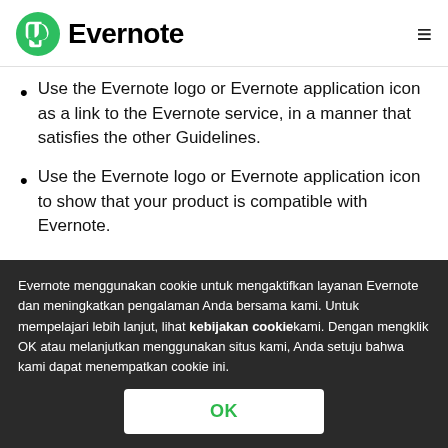Evernote
Use the Evernote logo or Evernote application icon as a link to the Evernote service, in a manner that satisfies the other Guidelines.
Use the Evernote logo or Evernote application icon to show that your product is compatible with Evernote.
Evernote menggunakan cookie untuk mengaktifkan layanan Evernote dan meningkatkan pengalaman Anda bersama kami. Untuk mempelajari lebih lanjut, lihat kebijakan cookie kami. Dengan mengklik OK atau melanjutkan menggunakan situs kami, Anda setuju bahwa kami dapat menempatkan cookie ini.